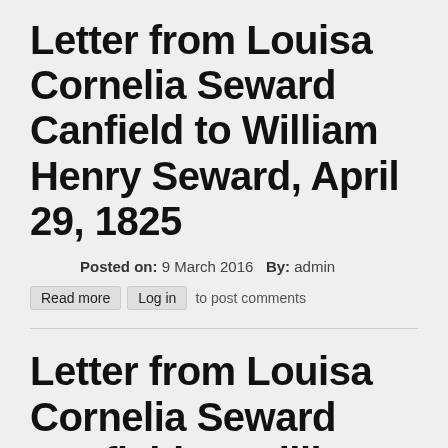Letter from Louisa Cornelia Seward Canfield to William Henry Seward, April 29, 1825
Posted on: 9 March 2016   By: admin
Read more   Log in   to post comments
Letter from Louisa Cornelia Seward Canfield to William